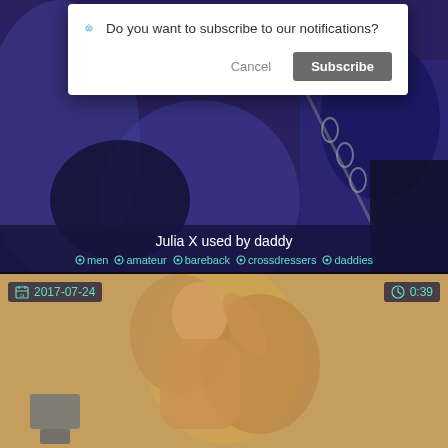[Figure (screenshot): Video thumbnail showing blurry darkish purple/blue scene with chains, partially obscured by notification dialog]
Do you want to subscribe to our notifications?
Cancel
Subscribe
Julia X used by daddy
men  amateur  bareback  crossdressers  daddies
[Figure (screenshot): Video thumbnail showing blurry figure, date badge 2017-07-24 and duration 0:39]
2017-07-24
0:39